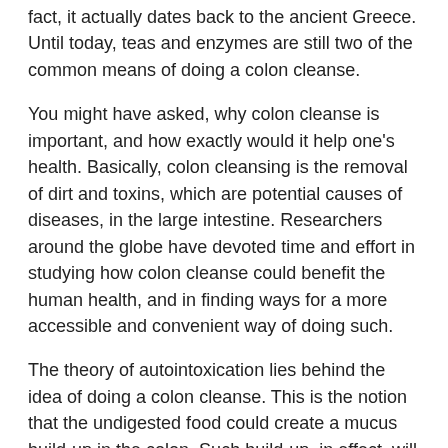fact, it actually dates back to the ancient Greece. Until today, teas and enzymes are still two of the common means of doing a colon cleanse.
You might have asked, why colon cleanse is important, and how exactly would it help one's health. Basically, colon cleansing is the removal of dirt and toxins, which are potential causes of diseases, in the large intestine. Researchers around the globe have devoted time and effort in studying how colon cleanse could benefit the human health, and in finding ways for a more accessible and convenient way of doing such.
The theory of autointoxication lies behind the idea of doing a colon cleanse. This is the notion that the undigested food could create a mucus build-up in the colon. Such build-up, in effect, will produce toxins that could slowly poison the body through blood circulation. Some of its undesirable effect are